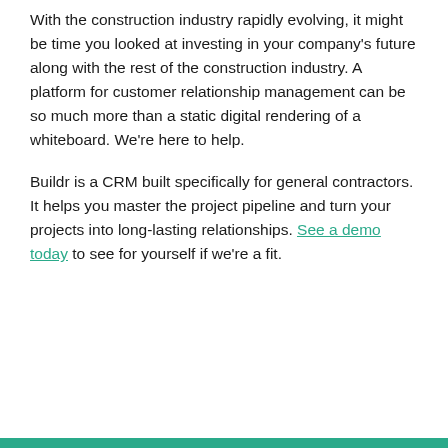With the construction industry rapidly evolving, it might be time you looked at investing in your company's future along with the rest of the construction industry. A platform for customer relationship management can be so much more than a static digital rendering of a whiteboard. We're here to help.
Buildr is a CRM built specifically for general contractors. It helps you master the project pipeline and turn your projects into long-lasting relationships. See a demo today to see for yourself if we're a fit.